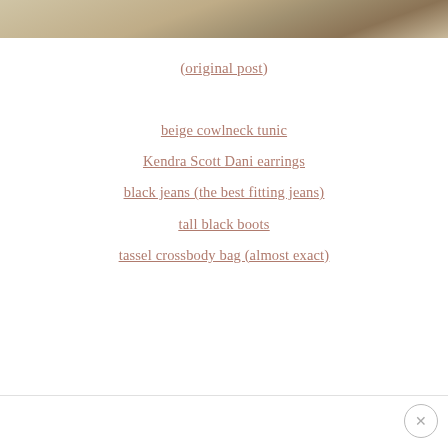[Figure (photo): Partial photo of a person wearing a beige cowlneck tunic, cropped at the top of the page]
(original post)
beige cowlneck tunic
Kendra Scott Dani earrings
black jeans (the best fitting jeans)
tall black boots
tassel crossbody bag (almost exact)